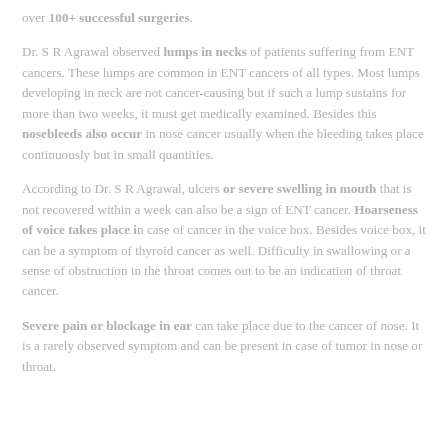over 100+ successful surgeries.
Dr. S R Agrawal observed lumps in necks of patients suffering from ENT cancers. These lumps are common in ENT cancers of all types. Most lumps developing in neck are not cancer-causing but if such a lump sustains for more than two weeks, it must get medically examined. Besides this nosebleeds also occur in nose cancer usually when the bleeding takes place continuously but in small quantities.
According to Dr. S R Agrawal, ulcers or severe swelling in mouth that is not recovered within a week can also be a sign of ENT cancer. Hoarseness of voice takes place in case of cancer in the voice box. Besides voice box, it can be a symptom of thyroid cancer as well. Difficulty in swallowing or a sense of obstruction in the throat comes out to be an indication of throat cancer.
Severe pain or blockage in ear can take place due to the cancer of nose. It is a rarely observed symptom and can be present in case of tumor in nose or throat.